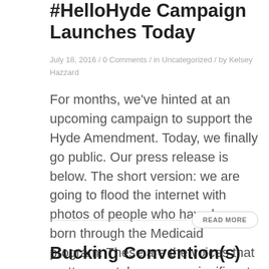#HelloHyde Campaign Launches Today
July 18, 2016 / 0 Comments / in Uncategorized / by Kelsey Hazzard
For months, we've hinted at an upcoming campaign to support the Hyde Amendment. Today, we finally go public. Our press release is below. The short version: we are going to flood the internet with photos of people who have been born through the Medicaid program. These are the voices that matter most, because a significant [...]
READ MORE
Bucking Convention(s)